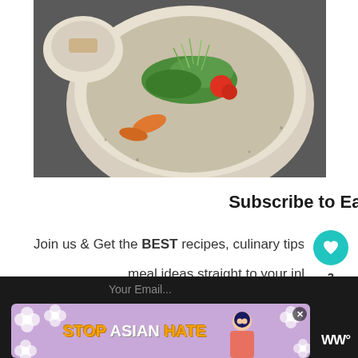[Figure (photo): A ceramic bowl with shrimp, green leaves, tomatoes, and microgreens salad, next to a small bowl of seeds, on a dark surface.]
Subscribe to EatDelights!
Join us & Get the BEST recipes, culinary tips, and meal ideas straight to your inbox.
Your Email...
[Figure (infographic): STOP ASIAN HATE advertisement banner with floral design and illustrated character, over purple background.]